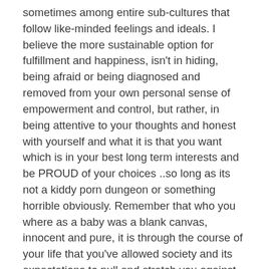sometimes among entire sub-cultures that follow like-minded feelings and ideals. I believe the more sustainable option for fulfillment and happiness, isn't in hiding, being afraid or being diagnosed and removed from your own personal sense of empowerment and control, but rather, in being attentive to your thoughts and honest with yourself and what it is that you want which is in your best long term interests and be PROUD of your choices ..so long as its not a kiddy porn dungeon or something horrible obviously. Remember that who you where as a baby was a blank canvas, innocent and pure, it is through the course of your life that you've allowed society and its expectations to pull and stretch you against your natural will. Those who have experienced hardship or are diagnosed with mental illness are generally more in-tune people, however, occasionally mismanaged, but certainly not lost ..they are more likely to be free thinking revolutionists who can potentially do a great deal of good for the unity of humanity rather than dosing up on what the 'all knowing' doctor gives them and allowing this chain